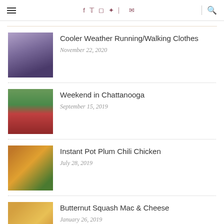Navigation header with hamburger menu, social icons (facebook, twitter, instagram, pinterest, rss, email), and search icon
Cooler Weather Running/Walking Clothes
November 22, 2020
Weekend in Chattanooga
September 15, 2019
Instant Pot Plum Chili Chicken
July 28, 2019
Butternut Squash Mac & Cheese
January 26, 2019